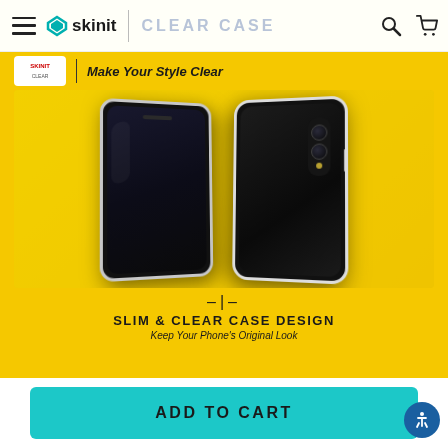skinit | CLEAR CASE
[Figure (photo): Two iPhone smartphones in clear cases displayed on yellow background. Left phone shows front screen (dark), right phone shows back with dual camera module. Below phones: slim icon and text 'SLIM & CLEAR CASE DESIGN - Keep Your Phone's Original Look']
Make Your Style Clear
SLIM & CLEAR CASE DESIGN
Keep Your Phone's Original Look
ADD TO CART